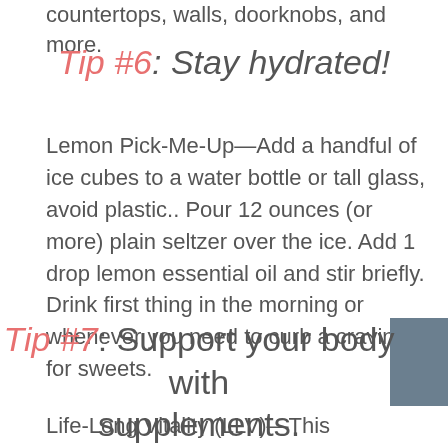countertops, walls, doorknobs, and more.
Tip #6: Stay hydrated!
Lemon Pick-Me-Up—Add a handful of ice cubes to a water bottle or tall glass, avoid plastic.. Pour 12 ounces (or more) plain seltzer over the ice. Add 1 drop lemon essential oil and stir briefly. Drink first thing in the morning or whenever you need to curb a craving for sweets.
Tip #7: Support your body with supplements.
Life-Long Vitality (LLV)—This nutritional